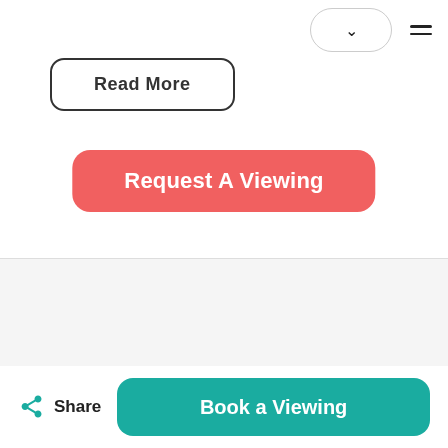[Figure (screenshot): Navigation bar with dropdown button showing chevron and hamburger menu icon]
Read More
Request A Viewing
Share
Book a Viewing